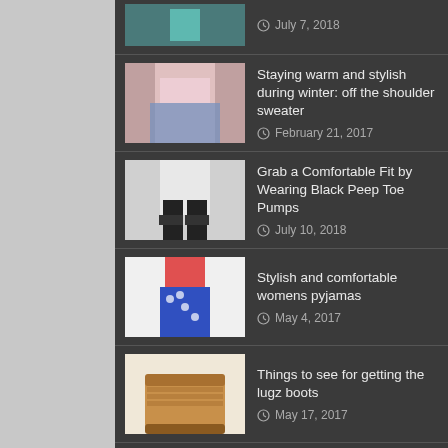July 7, 2018
Staying warm and stylish during winter: off the shoulder sweater — February 21, 2017
Grab a Comfortable Fit by Wearing Black Peep Toe Pumps — July 10, 2018
Stylish and comfortable womens pyjamas — May 4, 2017
Things to see for getting the lugz boots — May 17, 2017